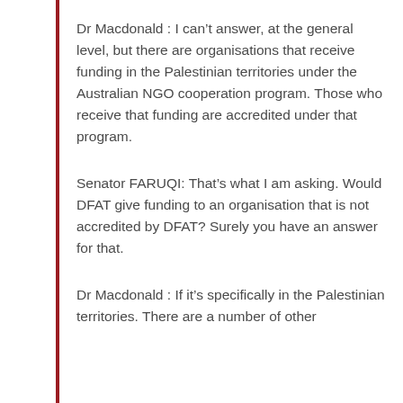Dr Macdonald : I can't answer, at the general level, but there are organisations that receive funding in the Palestinian territories under the Australian NGO cooperation program. Those who receive that funding are accredited under that program.
Senator FARUQI: That's what I am asking. Would DFAT give funding to an organisation that is not accredited by DFAT? Surely you have an answer for that.
Dr Macdonald : If it's specifically in the Palestinian territories. There are a number of other